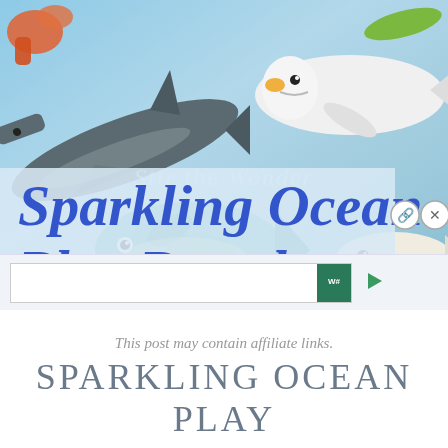[Figure (photo): Photo of ocean animal toy figurines on a light blue background: a hammerhead shark (dark gray), a beluga whale (white), a teal fish, a white fish, a green leaf/seaweed shape, and a red-orange crab claw. A semi-transparent cursive watermark reads 'Stir the Wonder'. A large blue cursive title overlay says 'Sparkling Ocean Play Dough'.]
This post may contain affiliate links.
SPARKLING OCEAN PLAY